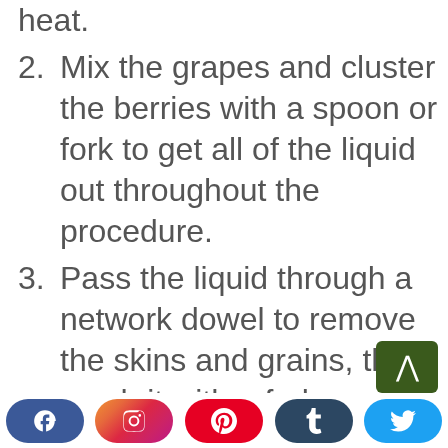heat.
2. Mix the grapes and cluster the berries with a spoon or fork to get all of the liquid out throughout the procedure.
3. Pass the liquid through a network dowel to remove the skins and grains, then crush it with a fork or pestle to get the most out of it.
Social share buttons: Facebook, Instagram, Pinterest, Tumblr, Twitter